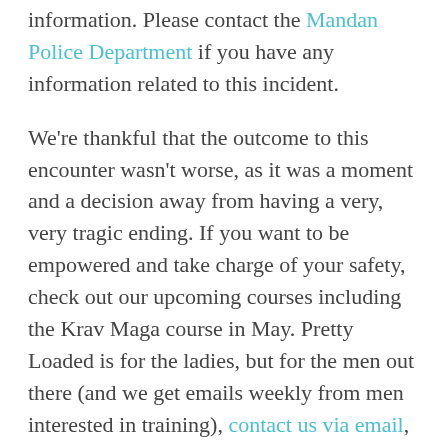information. Please contact the Mandan Police Department if you have any information related to this incident.
We're thankful that the outcome to this encounter wasn't worse, as it was a moment and a decision away from having a very, very tragic ending. If you want to be empowered and take charge of your safety, check out our upcoming courses including the Krav Maga course in May. Pretty Loaded is for the ladies, but for the men out there (and we get emails weekly from men interested in training), contact us via email, and we'll get you in touch with the right people according to your